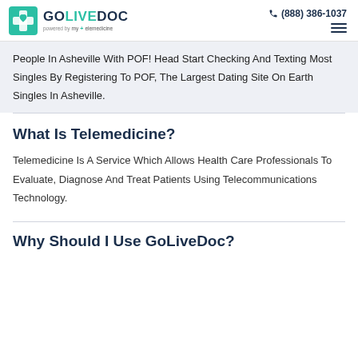GOLIVEDOC powered by my+elemedicine | (888) 386-1037
People In Asheville With POF! Head Start Checking And Texting Most Singles By Registering To POF, The Largest Dating Site On Earth Singles In Asheville.
What Is Telemedicine?
Telemedicine Is A Service Which Allows Health Care Professionals To Evaluate, Diagnose And Treat Patients Using Telecommunications Technology.
Why Should I Use GoLiveDoc?